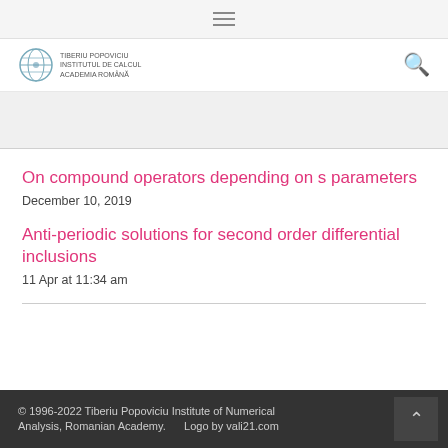Navigation menu (hamburger icon)
[Figure (logo): Tiberiu Popoviciu Institute of Numerical Analysis logo with globe and institution name in Romanian]
On compound operators depending on s parameters
December 10, 2019
Anti-periodic solutions for second order differential inclusions
11 Apr at 11:34 am
© 1996-2022 Tiberiu Popoviciu Institute of Numerical Analysis, Romanian Academy.    Logo by vali21.com